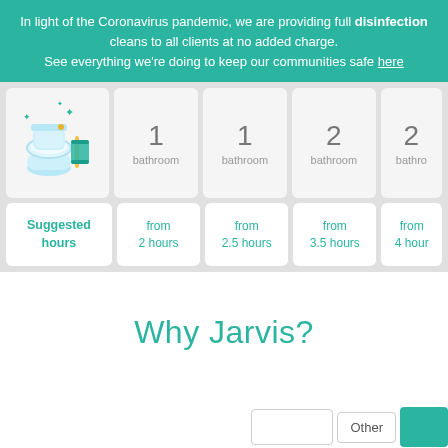In light of the Coronavirus pandemic, we are providing full disinfection cleans to all clients at no added charge. See everything we're doing to keep our communities safe here
[Figure (illustration): Illustration of a toilet with teal cleaning sparkles and a teal towel hanging beside it]
|  | 1 bathroom | 1 bathroom | 2 bathroom | 2 bathrooms (cut off) |
| --- | --- | --- | --- | --- |
| Suggested hours | from 2 hours | from 2.5 hours | from 3.5 hours | from 4 hours (cut off) |
Why Jarvis?
Other